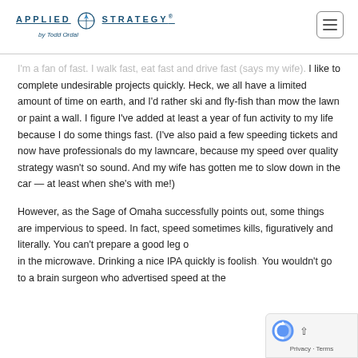APPLIED STRATEGY® by Todd Ordal
I'm a fan of fast. I walk fast, eat fast and drive fast (says my wife). I like to complete undesirable projects quickly. Heck, we all have a limited amount of time on earth, and I'd rather ski and fly-fish than mow the lawn or paint a wall. I figure I've added at least a year of fun activity to my life because I do some things fast. (I've also paid a few speeding tickets and now have professionals do my lawncare, because my speed over quality strategy wasn't so sound. And my wife has gotten me to slow down in the car — at least when she's with me!)
However, as the Sage of Omaha successfully points out, some things are impervious to speed. In fact, speed sometimes kills, figuratively and literally. You can't prepare a good leg of lamb in the microwave. Drinking a nice IPA quickly is foolish. You wouldn't go to a brain surgeon who advertised speed at the